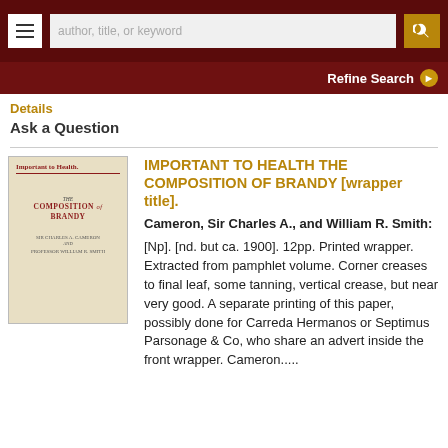author, title, or keyword [search bar] | Refine Search
Details
Ask a Question
[Figure (photo): Book cover of 'Important to Health. The Composition of Brandy' by Sir Charles A. Cameron and Professor William R. Smith. Cream/beige colored pamphlet cover with red text.]
IMPORTANT TO HEALTH THE COMPOSITION OF BRANDY [wrapper title].
Cameron, Sir Charles A., and William R. Smith:
[Np]. [nd. but ca. 1900]. 12pp. Printed wrapper. Extracted from pamphlet volume. Corner creases to final leaf, some tanning, vertical crease, but near very good. A separate printing of this paper, possibly done for Carreda Hermanos or Septimus Parsonage & Co, who share an advert inside the front wrapper. Cameron.....